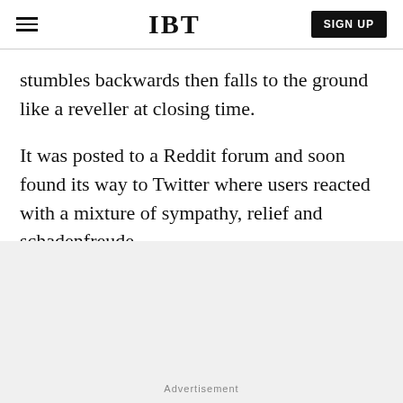IBT | SIGN UP
stumbles backwards then falls to the ground like a reveller at closing time.
It was posted to a Reddit forum and soon found its way to Twitter where users reacted with a mixture of sympathy, relief and schadenfreude.
Advertisement